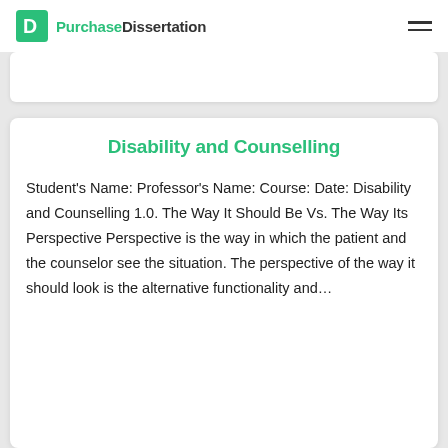PurchaseDissertation
Disability and Counselling
Student's Name: Professor's Name: Course: Date: Disability and Counselling 1.0. The Way It Should Be Vs. The Way Its Perspective Perspective is the way in which the patient and the counselor see the situation. The perspective of the way it should look is the alternative functionality and…